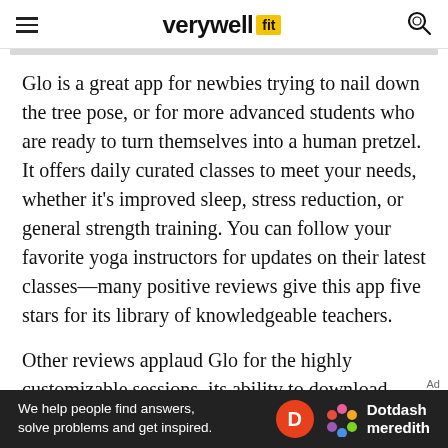verywell fit
Glo is a great app for newbies trying to nail down the tree pose, or for more advanced students who are ready to turn themselves into a human pretzel. It offers daily curated classes to meet your needs, whether it’s improved sleep, stress reduction, or general strength training. You can follow your favorite yoga instructors for updates on their latest classes—many positive reviews give this app five stars for its library of knowledgeable teachers.
Other reviews applaud Glo for the highly customizable sessions, its ability to download classes and use them off of WiFi while traveling, and the app’s superior customer service. Glo also
[Figure (other): Dotdash Meredith advertisement banner: 'We help people find answers, solve problems and get inspired.' with Dotdash Meredith logo]